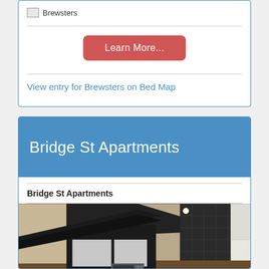[Figure (logo): Brewsters logo placeholder image with text 'Brewsters']
Learn More...
View entry for Brewsters on Bed Map
Bridge St Apartments
Bridge St Apartments
[Figure (photo): Interior photo of Bridge St Apartments showing a kitchen/room with black tiled walls, dark exposed beams, a window with black blind, and white cabinets]